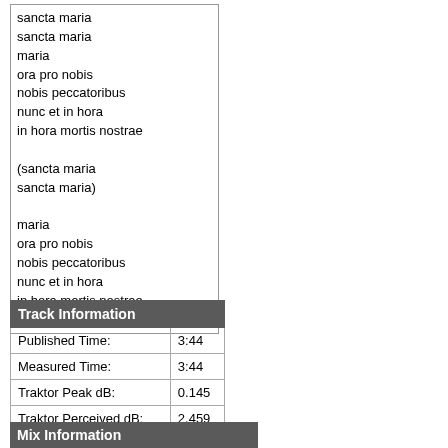sancta maria
sancta maria
maria
ora pro nobis
nobis peccatoribus
nunc et in hora
in hora mortis nostrae

(sancta maria
sancta maria)

maria
ora pro nobis
nobis peccatoribus
nunc et in hora
in hora mortis nostrae
amen amen
| Track Information |
| --- |
| Published Time: | 3:44 |
| Measured Time: | 3:44 |
| Traktor Peak dB: | 0.145 |
| Traktor Perceived dB: | 2.459 |
Mix Information